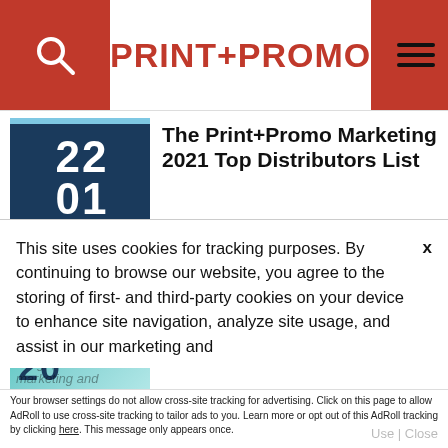PRINT+PROMO
The Print+Promo Marketing 2021 Top Distributors List
The Print+Promo Marketing 2021 Top Suppliers List
This site uses cookies for tracking purposes. By continuing to browse our website, you agree to the storing of first- and third-party cookies on your device to enhance site navigation, analyze site usage, and assist in our marketing and
Accept and Close ✕
Your browser settings do not allow cross-site tracking for advertising. Click on this page to allow AdRoll to use cross-site tracking to tailor ads to you. Learn more or opt out of this AdRoll tracking by clicking here. This message only appears once.